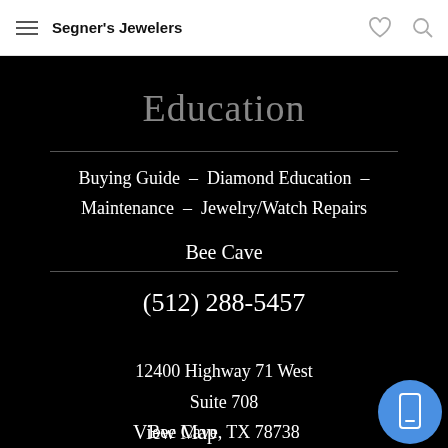Segner's Jewelers
Education
Buying Guide – Diamond Education – Maintenance – Jewelry/Watch Repairs
Bee Cave
(512) 288-5457
12400 Highway 71 West
Suite 708
Bee Cave, TX 78738
View Map